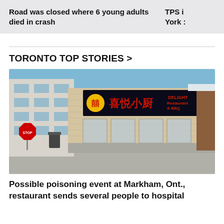Road was closed where 6 young adults died in crash	TPS i York :
TORONTO TOP STORIES >
[Figure (photo): Exterior of a Chinese restaurant with a sign reading 喜悦小厨 DELIGHT Restaurant & BBQ with a yellow and red logo, brick building, large windows, stop sign visible on the left, parking lot in foreground]
Possible poisoning event at Markham, Ont., restaurant sends several people to hospital